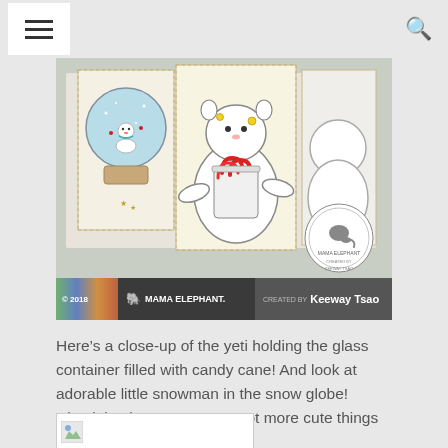Navigation bar with hamburger menu and search icon
[Figure (photo): Close-up photo of a handmade card featuring a yeti holding a glass container filled with candy canes, and an adorable snowman inside a snow globe, both depicted as postage stamps. Bottom bar shows copyright 2018 Mama Elephant, created by Keeway Tsao.]
Here’s a close-up of the yeti holding the glass container filled with candy cane! And look at adorable little snowman in the snow globe! Check back soon, cause I got more cute things to share with you!
[Figure (other): Small broken image placeholder thumbnail]